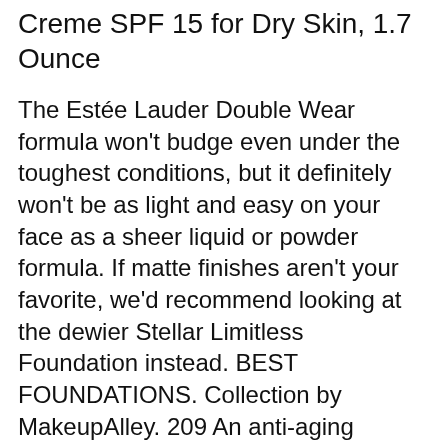Creme SPF 15 for Dry Skin, 1.7 Ounce
The Estée Lauder Double Wear formula won't budge even under the toughest conditions, but it definitely won't be as light and easy on your face as a sheer liquid or powder formula. If matte finishes aren't your favorite, we'd recommend looking at the dewier Stellar Limitless Foundation instead. BEST FOUNDATIONS. Collection by MakeupAlley. 209 An anti-aging powder foundation fave: IT Cosmetics Celebration Foundation #itcosmetics #foundation #fanfavorite #MUA #MakeupAlley See more. Estee Lauder Double Wear Light foundation, my favourite foundation.